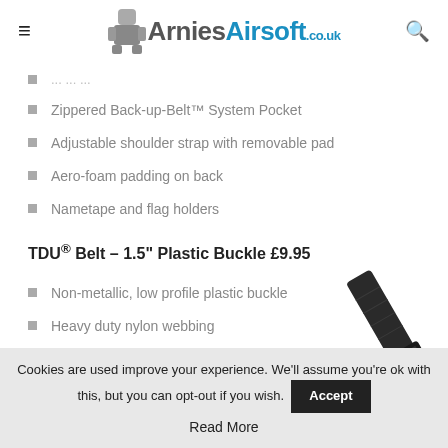ArniesAirsoft.co.uk
Zippered Back-up-Belt™ System Pocket
Adjustable shoulder strap with removable pad
Aero-foam padding on back
Nametape and flag holders
TDU® Belt – 1.5" Plastic Buckle £9.95
[Figure (photo): Black TDU belt with plastic buckle shown diagonally]
Non-metallic, low profile plastic buckle
Heavy duty nylon webbing
Three colors
Sizes small to 3XL
Cookies are used improve your experience. We'll assume you're ok with this, but you can opt-out if you wish. Accept
Read More